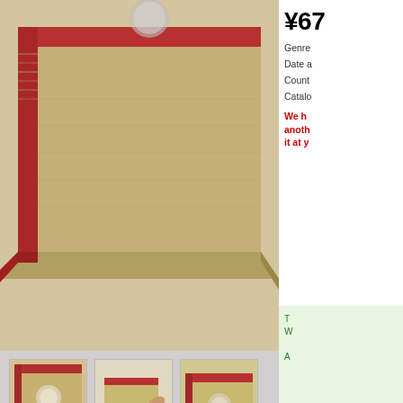[Figure (photo): Stack of kraft paper record sleeves with red tape borders, viewed from above at an angle]
[Figure (photo): Thumbnail 1: Single kraft sleeve with red tape, corner view]
[Figure (photo): Thumbnail 2: Hand holding open a kraft paper sleeve showing interior]
[Figure (photo): Thumbnail 3: Kraft sleeve with hole, side view showing red tape border]
¥67
Genre
Date a
Count
Catalo
We h another it at y
T W A
BUY
High quality hand-made sleeve for precious collector's items. Pack of 50.
A pair of thick flat kraft papers colour taped on both sides by Japanese crafts. Glued poly inner also protects the label from friction which is very impotant